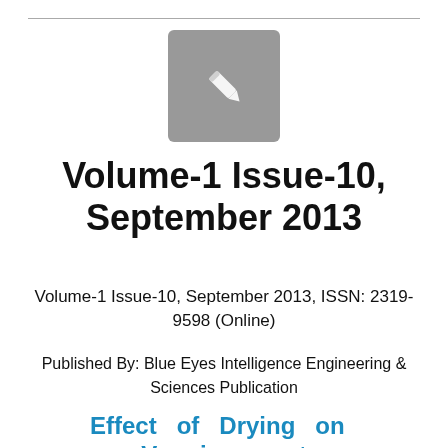[Figure (logo): Gray square icon with a white pencil/edit symbol]
Volume-1 Issue-10, September 2013
Volume-1 Issue-10, September 2013, ISSN: 2319-9598 (Online)
Published By: Blue Eyes Intelligence Engineering & Sciences Publication
Effect of Drying on Vermicompost